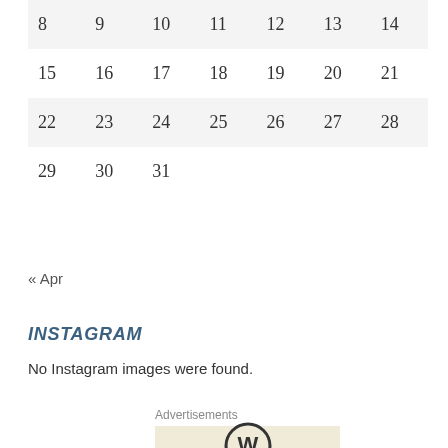| 8 | 9 | 10 | 11 | 12 | 13 | 14 |
| 15 | 16 | 17 | 18 | 19 | 20 | 21 |
| 22 | 23 | 24 | 25 | 26 | 27 | 28 |
| 29 | 30 | 31 |  |  |  |  |
« Apr
INSTAGRAM
No Instagram images were found.
Advertisements